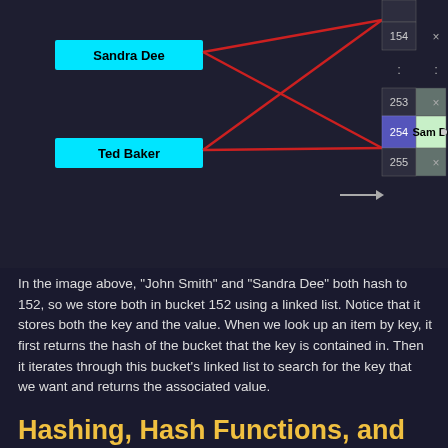[Figure (engineering-diagram): Hash table diagram showing linked-list chaining for collision resolution. Left side shows cyan boxes labeled 'Sandra Dee' and 'Ted Baker' connected via red lines to bucket rows 152-255 on the right. Bucket 152 contains 'Ted Baker' and '719-4183' with a bullet. Bucket 154 is empty with ×. Rows 253 and 255 are empty with ×. Row 254 contains 'Sam Doe', '521-5030' with a bullet (highlighted in purple/blue).]
In the image above, "John Smith" and "Sandra Dee" both hash to 152, so we store both in bucket 152 using a linked list. Notice that it stores both the key and the value. When we look up an item by key, it first returns the hash of the bucket that the key is contained in. Then it iterates through this bucket's linked list to search for the key that we want and returns the associated value.
Hashing, Hash Functions, and